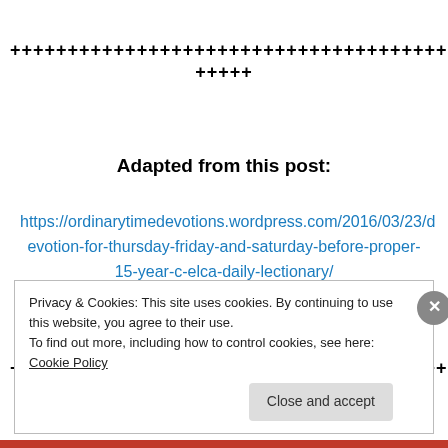++++++++++++++++++++++++++++++++++++++++++++++++++
+++++
Adapted from this post:
https://ordinarytimedevotions.wordpress.com/2016/03/23/devotion-for-thursday-friday-and-saturday-before-proper-15-year-c-elca-daily-lectionary/
++++++++++++++++++++++++++++++++++++++++++++++++++
+++++
Privacy & Cookies: This site uses cookies. By continuing to use this website, you agree to their use.
To find out more, including how to control cookies, see here: Cookie Policy
Close and accept